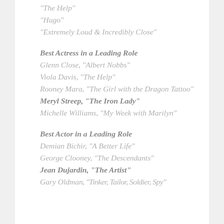“The Help”
“Hugo”
“Extremely Loud & Incredibly Close”
Best Actress in a Leading Role
Glenn Close, “Albert Nobbs”
Viola Davis, “The Help”
Rooney Mara, “The Girl with the Dragon Tattoo”
Meryl Streep, “The Iron Lady”
Michelle Williams, “My Week with Marilyn”
Best Actor in a Leading Role
Demian Bichir, “A Better Life”
George Clooney, “The Descendants”
Jean Dujardin, “The Artist”
Gary Oldman, “Tinker, Tailor, Soldier, Spy”